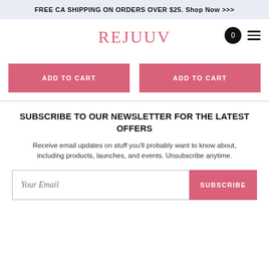FREE CA SHIPPING ON ORDERS OVER $25. Shop Now >>>
[Figure (logo): REJUUV brand logo in pink serif font with cart icon (0) and hamburger menu]
ADD TO CART
ADD TO CART
SUBSCRIBE TO OUR NEWSLETTER FOR THE LATEST OFFERS
Receive email updates on stuff you'll probably want to know about, including products, launches, and events. Unsubscribe anytime.
Your Email  SUBSCRIBE